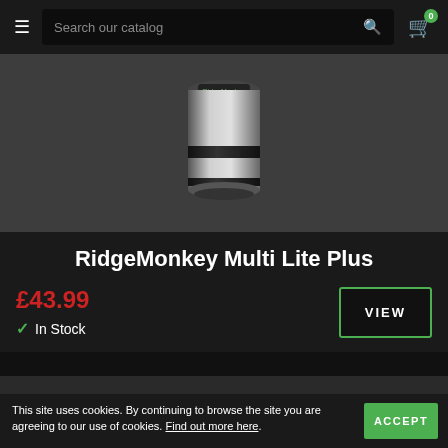Search our catalog
[Figure (photo): Product image of RidgeMonkey Multi Lite Plus — a cylindrical device photographed against a dark grey background]
RidgeMonkey Multi Lite Plus
£43.99
✓ In Stock
VIEW
This site uses cookies. By continuing to browse the site you are agreeing to our use of cookies. Find out more here.
ACCEPT